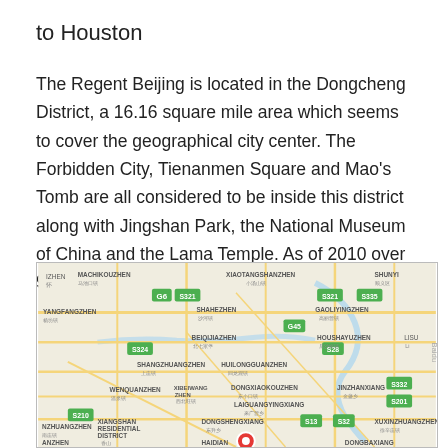to Houston
The Regent Beijing is located in the Dongcheng District, a 16.16 square mile area which seems to cover the geographical city center. The Forbidden City, Tienanmen Square and Mao's Tomb are all considered to be inside this district along with Jingshan Park, the National Museum of China and the Lama Temple. As of 2010 over 900,000 people live within this district.
[Figure (map): Map of Beijing showing districts and neighborhoods including Dongcheng District, with a red location pin marker visible in the lower center of the map. Roads, district names in English and Chinese are visible. A watermark 'Baidu' appears on the right edge.]